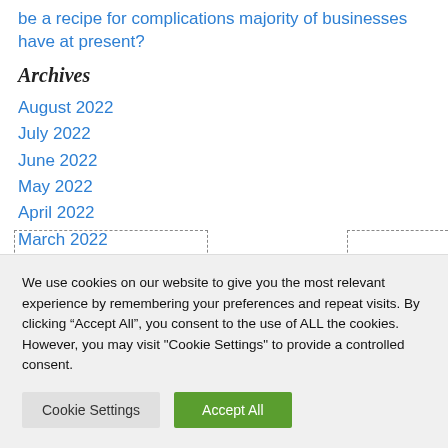be a recipe for complications majority of businesses have at present?
Archives
August 2022
July 2022
June 2022
May 2022
April 2022
March 2022
February 2022
We use cookies on our website to give you the most relevant experience by remembering your preferences and repeat visits. By clicking “Accept All”, you consent to the use of ALL the cookies. However, you may visit "Cookie Settings" to provide a controlled consent.